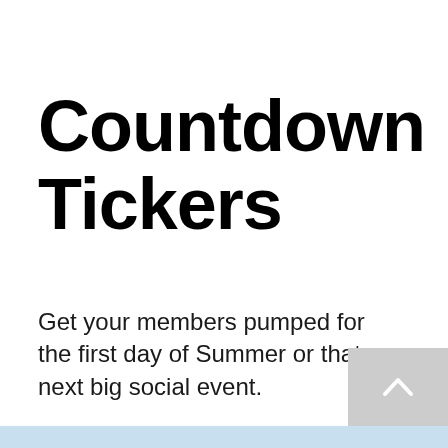Countdown Tickers
Get your members pumped for the first day of Summer or that next big social event.